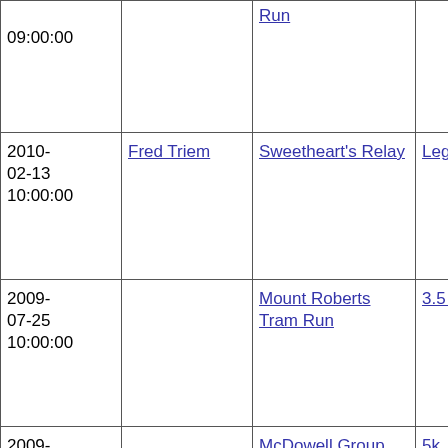| Date | Name | Race | Distance | Distance2 |
| --- | --- | --- | --- | --- |
| 2010-02-13 10:00:00 | Fred Triem | Sweetheart's Relay | Leg 1 | 2.00miles |
| 2009-07-25 10:00:00 |  | Mount Roberts Tram Run | 3.5 miles | 3.50miles |
| 2009-07-18 09:00:00 |  | McDowell Group Governors Cup | 5k | 5.00km |
| 2009-07-11 |  | Windfall Lake | about 13 | 14.00mi... |